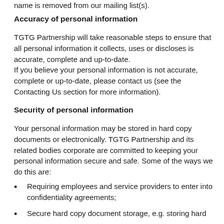name is removed from our mailing list(s).
Accuracy of personal information
TGTG Partnership will take reasonable steps to ensure that all personal information it collects, uses or discloses is accurate, complete and up-to-date.
If you believe your personal information is not accurate, complete or up-to-date, please contact us (see the Contacting Us section for more information).
Security of personal information
Your personal information may be stored in hard copy documents or electronically. TGTG Partnership and its related bodies corporate are committed to keeping your personal information secure and safe. Some of the ways we do this are:
Requiring employees and service providers to enter into confidentiality agreements;
Secure hard copy document storage, e.g. storing hard copy documents in locked filing cabinets.